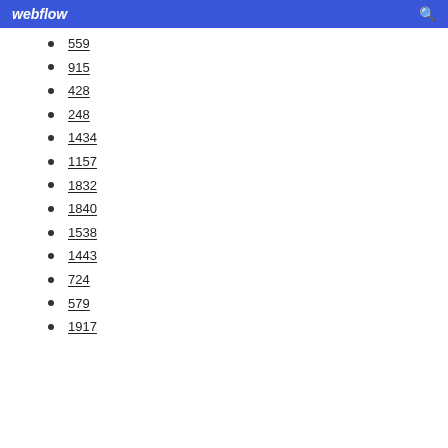webflow
559
915
428
248
1434
1157
1832
1840
1538
1443
724
579
1917